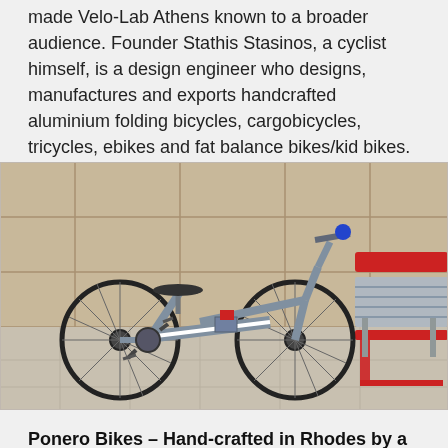made Velo-Lab Athens known to a broader audience. Founder Stathis Stasinos, a cyclist himself, is a design engineer who designs, manufactures and exports handcrafted aluminium folding bicycles, cargobicycles, tricycles, ebikes and fat balance bikes/kid bikes.
[Figure (photo): A grey aluminium folding bicycle leaning against a tiled wall next to a red metal bench, photographed indoors on a tiled floor.]
Ponero Bikes – Hand-crafted in Rhodes by a former